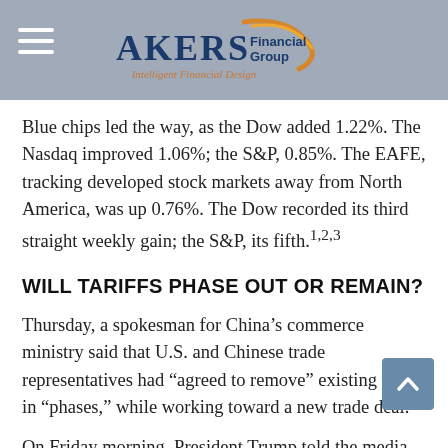Akers Financial Group — Intelligent Financial Design
Blue chips led the way, as the Dow added 1.22%. The Nasdaq improved 1.06%; the S&P, 0.85%. The EAFE, tracking developed stock markets away from North America, was up 0.76%. The Dow recorded its third straight weekly gain; the S&P, its fifth.¹²³
WILL TARIFFS PHASE OUT OR REMAIN?
Thursday, a spokesman for China’s commerce ministry said that U.S. and Chinese trade representatives had “agreed to remove” existing tariffs in “phases,” while working toward a new trade deal.
On Friday morning, President Trump told the media that he had not agreed to any such condition. President Trump and Chinese President Xi Jinping are still expected to sign